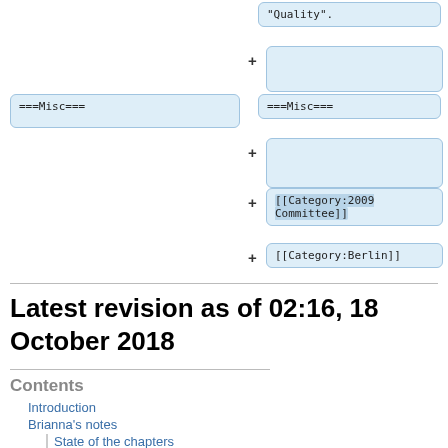"Quality".
===Misc===
===Misc===
[[Category:2009 Committee]]
[[Category:Berlin]]
Latest revision as of 02:16, 18 October 2018
Contents
Introduction
Brianna's notes
State of the chapters
Relationships between